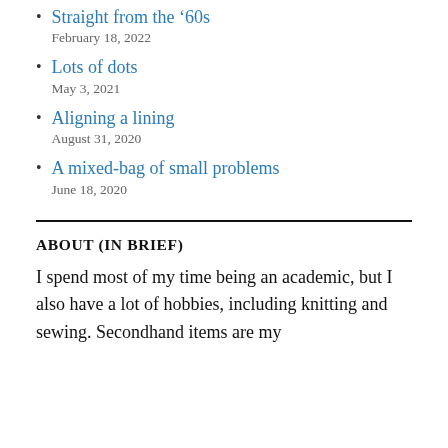Straight from the ’60s
February 18, 2022
Lots of dots
May 3, 2021
Aligning a lining
August 31, 2020
A mixed-bag of small problems
June 18, 2020
ABOUT (IN BRIEF)
I spend most of my time being an academic, but I also have a lot of hobbies, including knitting and sewing. Secondhand items are my